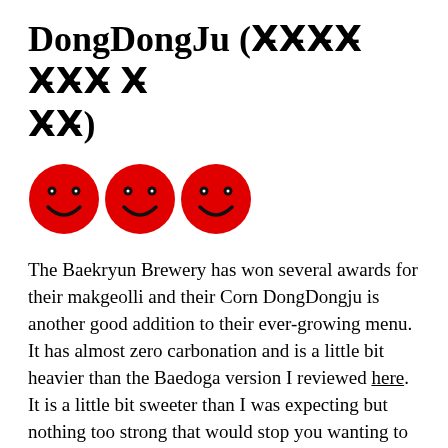DongDongJu (🀆🀆🀆🀆 🀆🀆🀆 🀆🀆🀆🀆)
[Figure (illustration): Three red smiley face emoji icons in a row, representing a rating]
The Baekryun Brewery has won several awards for their makgeolli and their Corn DongDongju is another good addition to their ever-growing menu. It has almost zero carbonation and is a little bit heavier than the Baedoga version I reviewed here. It is a little bit sweeter than I was expecting but nothing too strong that would stop you wanting to drink the rest of the bottle. It has an fantastically bright yellow colour which really does make you feel as if you are drinking something more like a corn milkshake, thankfully no such thing exists.....although I'm sure Korea has thought about it. Continuing reading...